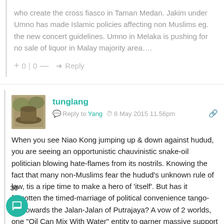who create the cross fiasco in Taman Medan. Jakim under Umno has made Islamic policies affecting non Muslims eg. the new concert guidelines. Umno in Melaka is pushing for no sale of liquor in Malay majority area….
+ 0 | 0 — → Reply
tunglang
Reply to Yang  8 May 2015 11.56pm
When you see Niao Kong jumping up & down against hudud, you are seeing an opportunistic chauvinistic snake-oil politician blowing hate-flames from its nostrils. Knowing the fact that many non-Muslims fear the hudud's unknown rule of law, tis a ripe time to make a hero of 'itself'. But has it forgotten the timed-marriage of political convenience tango-ing towards the Jalan-Jalan of Putrajaya? A vow of 2 worlds, one "Oil Can Mix With Water" entity to garner massive support for a Malaysia Baru (until siapa yang sebenar?). We don't make these